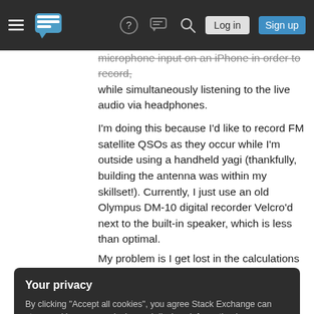Stack Exchange navigation bar with hamburger menu, logo, help, chat, search icons, Log in and Sign up buttons
microphone input on an iPhone in order to record, while simultaneously listening to the live audio via headphones.
I'm doing this because I'd like to record FM satellite QSOs as they occur while I'm outside using a handheld yagi (thankfully, building the antenna was within my skillset!). Currently, I just use an old Olympus DM-10 digital recorder Velcro'd next to the built-in speaker, which is less than optimal.
My problem is I get lost in the calculations for
Your privacy
By clicking "Accept all cookies", you agree Stack Exchange can store cookies on your device and disclose information in accordance with our Cookie Policy.
Accept all cookies
Customize settings
jack.